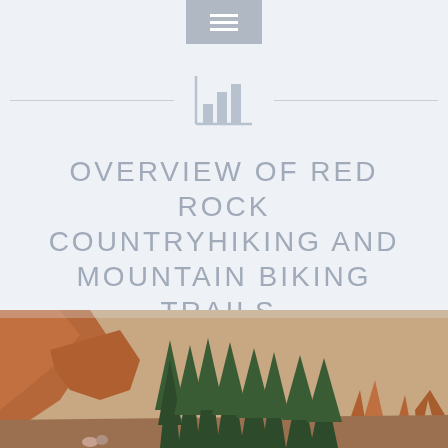[Figure (other): Grey hamburger menu button icon at top center]
[Figure (other): Bar chart icon in center of light blue-grey header section, flanked by horizontal divider lines]
OVERVIEW OF RED ROCK COUNTRYHIKING AND MOUNTAIN BIKING TRAILS.
[Figure (photo): Photograph of red rock canyon landscape with tall pine trees and red sandstone hoodoos; hikers visible at bottom left of trail]